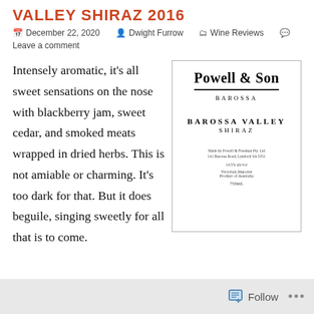VALLEY SHIRAZ 2016
December 22, 2020  Dwight Furrow  Wine Reviews  Leave a comment
Intensely aromatic, it's all sweet sensations on the nose with blackberry jam, sweet cedar, and smoked meats wrapped in dried herbs. This is not amiable or charming. It's too dark for that. But it does beguile, singing sweetly for all that is to come.
[Figure (photo): Powell & Son Barossa Valley Shiraz wine label. White label with black text reading POWELL & SON at top in large bold font, BAROSSA below that, then BAROSSA VALLEY and SHIRAZ in spaced lettering. Small text at bottom with producer details and 750mL.]
Follow ...